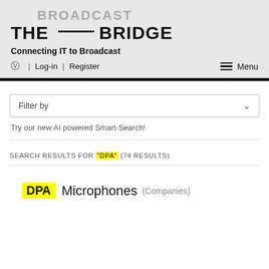[Figure (logo): The Broadcast Bridge logo with tagline 'Connecting IT to Broadcast']
Log-in | Register | Menu
Filter by
Try our new AI powered Smart-Search!
SEARCH RESULTS FOR "DPA" (74 RESULTS)
DPA Microphones (Companies)